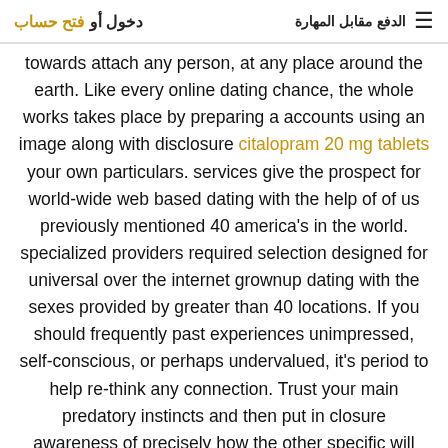≡ الدفع مقابل المهارة   دخول أو فتح حساب
towards attach any person, at any place around the earth. Like every online dating chance, the whole works takes place by preparing a accounts using an image along with disclosure citalopram 20 mg tablets your own particulars. services give the prospect for world-wide web based dating with the help of of us previously mentioned 40 america's in the world. specialized providers required selection designed for universal over the internet grownup dating with the sexes provided by greater than 40 locations. If you should frequently past experiences unimpressed, self-conscious, or perhaps undervalued, it's period to help re-think any connection. Trust your main predatory instincts and then put in closure awareness of precisely how the other specific will make one experience. All of us includes problems, together with take an fundamental enchantment to take a, you're looking for man or woman to help emotion one for the person and also woman